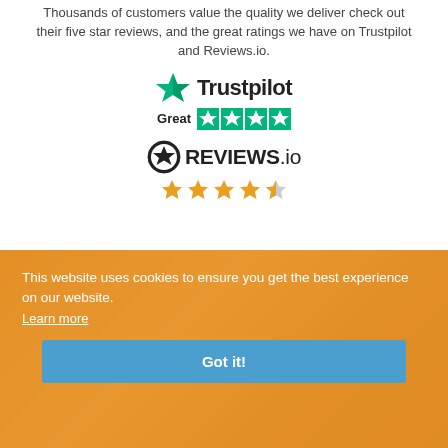Thousands of customers value the quality we deliver check out their five star reviews, and the great ratings we have on Trustpilot and Reviews.io.
[Figure (logo): Trustpilot logo with green star and bold wordmark, showing 'Great' label and four green filled star rating squares]
[Figure (logo): Reviews.io logo with circular star badge icon and wordmark, followed by orange star rating showing approximately 4.5 stars]
[Figure (photo): Cookie consent banner overlaid on orange-tinted gym photo showing exercise equipment. Banner text: 'This website uses cookies to ensure you get the best experience on our website. Learn more' with a blue 'Got it!' button.]